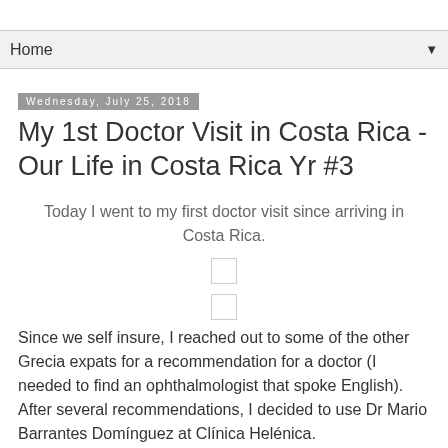Home
Wednesday, July 25, 2018
My 1st Doctor Visit in Costa Rica - Our Life in Costa Rica Yr #3
Today I went to my first doctor visit since arriving in Costa Rica.
[Figure (other): Small placeholder image box 1]
[Figure (other): Small placeholder image box 2]
Since we self insure, I reached out to some of the other Grecia expats for a recommendation for a doctor (I needed to find an ophthalmologist that spoke English).  After several recommendations, I decided to use Dr Mario Barrantes Domínguez at Clínica Helénica.